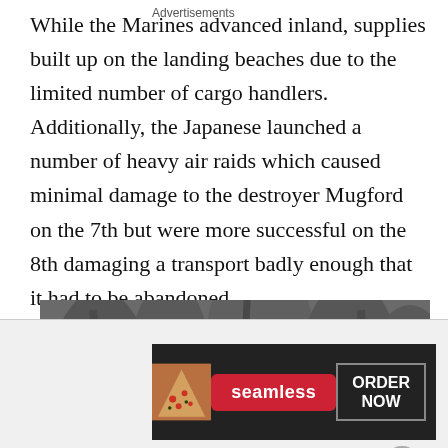While the Marines advanced inland, supplies built up on the landing beaches due to the limited number of cargo handlers. Additionally, the Japanese launched a number of heavy air raids which caused minimal damage to the destroyer Mugford on the 7th but were more successful on the 8th damaging a transport badly enough that it had to be abandoned.
[Figure (photo): Black and white historical photograph showing a military tank with the number 2 on its turret, soldiers visible beside it, in a jungle or tropical setting with palm trees in the background.]
Advertisements
[Figure (other): Advertisement banner for Seamless food delivery service showing pizza image on left, Seamless logo in red pill shape in center, and ORDER NOW button on right against dark background.]